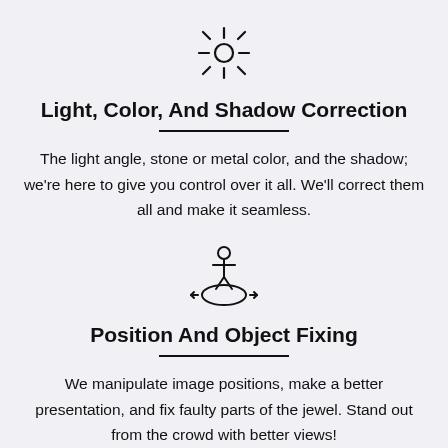[Figure (illustration): Sun/light icon: a circle with rays extending outward in 8 directions]
Light, Color, And Shadow Correction
The light angle, stone or metal color, and the shadow; we're here to give you control over it all. We'll correct them all and make it seamless.
[Figure (illustration): Person standing on a positioning/crosshair target icon]
Position And Object Fixing
We manipulate image positions, make a better presentation, and fix faulty parts of the jewel. Stand out from the crowd with better views!